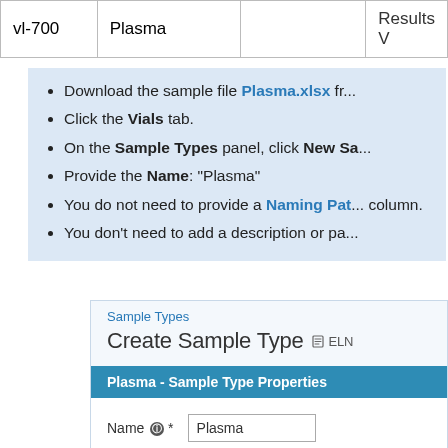|  |  |  |  |
| --- | --- | --- | --- |
| vl-700 | Plasma |  | Results V |
Download the sample file Plasma.xlsx fr...
Click the Vials tab.
On the Sample Types panel, click New Sa...
Provide the Name: "Plasma"
You do not need to provide a Naming Pat... column.
You don't need to add a description or pa...
[Figure (screenshot): Screenshot of 'Create Sample Type' form with 'Sample Types' label at top, an ELN icon, a blue bar reading 'Plasma - Sample Type Properties', and a Name field filled with 'Plasma'.]